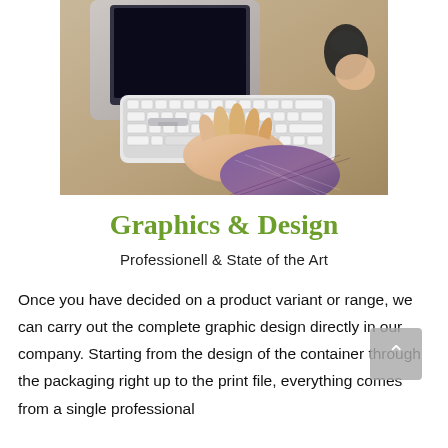[Figure (photo): Person typing on an Apple keyboard with a mouse on a wooden desk, with an iMac monitor partially visible in the background.]
Graphics & Design
Professionell & State of the Art
Once you have decided on a product variant or range, we can carry out the complete graphic design directly in our company. Starting from the design of the container through the packaging right up to the print file, everything comes from a single professional